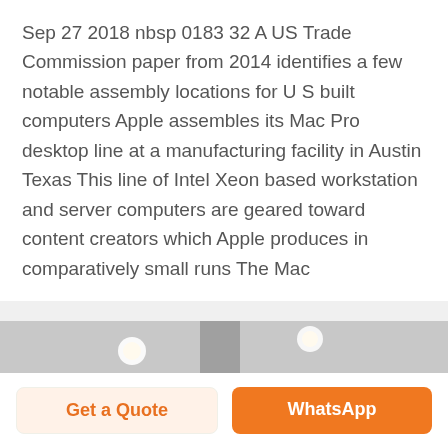Sep 27 2018 nbsp 0183 32 A US Trade Commission paper from 2014 identifies a few notable assembly locations for U S built computers Apple assembles its Mac Pro desktop line at a manufacturing facility in Austin Texas This line of Intel Xeon based workstation and server computers are geared toward content creators which Apple produces in comparatively small runs The Mac
[Figure (photo): Interior of a manufacturing or industrial facility showing ceiling beams, columns, overhead lights, and industrial equipment in a large warehouse-like space.]
Get a Quote
WhatsApp